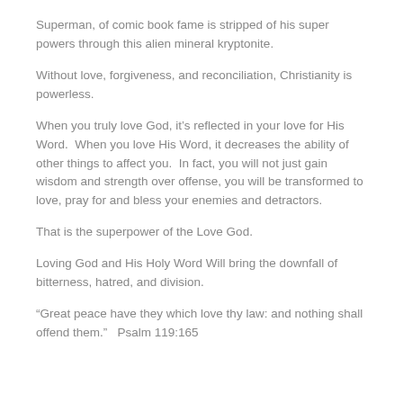Superman, of comic book fame is stripped of his super powers through this alien mineral kryptonite.
Without love, forgiveness, and reconciliation, Christianity is powerless.
When you truly love God, it’s reflected in your love for His Word.  When you love His Word, it decreases the ability of other things to affect you.  In fact, you will not just gain wisdom and strength over offense, you will be transformed to love, pray for and bless your enemies and detractors.
That is the superpower of the Love God.
Loving God and His Holy Word Will bring the downfall of bitterness, hatred, and division.
“Great peace have they which love thy law: and nothing shall offend them.”   Psalm 119:165